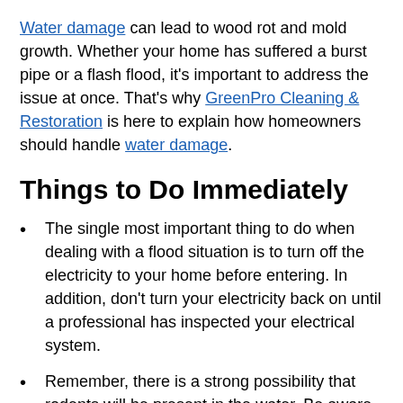Water damage can lead to wood rot and mold growth. Whether your home has suffered a burst pipe or a flash flood, it's important to address the issue at once. That's why GreenPro Cleaning & Restoration is here to explain how homeowners should handle water damage.
Things to Do Immediately
The single most important thing to do when dealing with a flood situation is to turn off the electricity to your home before entering. In addition, don't turn your electricity back on until a professional has inspected your electrical system.
Remember, there is a strong possibility that rodents will be present in the water. Be aware of this and wear protective clothing when you're wading through floodwater.
Determine whether the floodwater is contaminated. If necessary wear a vapor respirator, rubber boots and